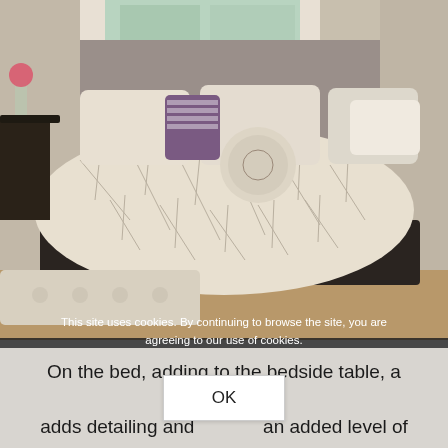[Figure (photo): A bed dressed with a floral/bamboo-print cream duvet and multiple decorative pillows including purple striped and plain cream cushions, bolster pillow, and tufted bench at foot of bed. Room has wooden flooring and a dark wood bedside table.]
This site uses cookies. By continuing to browse the site, you are agreeing to our use of cookies.
On the bed, adding to the bedside table, a runner adds detailing and provides an added level of coordination to your scheme.